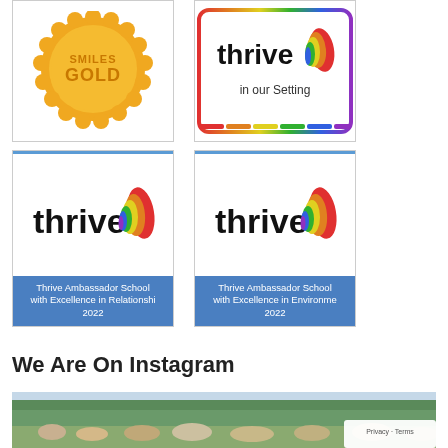[Figure (logo): Gold award badge with 'GOLD' text in orange/gold scalloped circular badge]
[Figure (logo): Thrive 'thrive in our Setting' badge with rainbow-colored logo and colorful border]
[Figure (logo): Thrive Ambassador School with Excellence in Relationships 2022 certificate card with thrive logo and blue banner]
[Figure (logo): Thrive Ambassador School with Excellence in Environment 2022 certificate card with thrive logo and blue banner]
We Are On Instagram
[Figure (photo): Outdoor photo showing a group of people gathered in a park or field with trees in background, on a summer day]